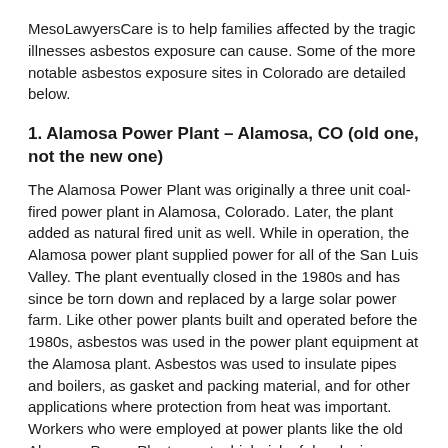MesoLawyersCare is to help families affected by the tragic illnesses asbestos exposure can cause. Some of the more notable asbestos exposure sites in Colorado are detailed below.
1. Alamosa Power Plant – Alamosa, CO (old one, not the new one)
The Alamosa Power Plant was originally a three unit coal-fired power plant in Alamosa, Colorado. Later, the plant added as natural fired unit as well. While in operation, the Alamosa power plant supplied power for all of the San Luis Valley. The plant eventually closed in the 1980s and has since be torn down and replaced by a large solar power farm. Like other power plants built and operated before the 1980s, asbestos was used in the power plant equipment at the Alamosa plant. Asbestos was used to insulate pipes and boilers, as gasket and packing material, and for other applications where protection from heat was important. Workers who were employed at power plants like the old Alamosa Power Plant are at a high risk of developing mesothelioma and other asbestos-related diseases.